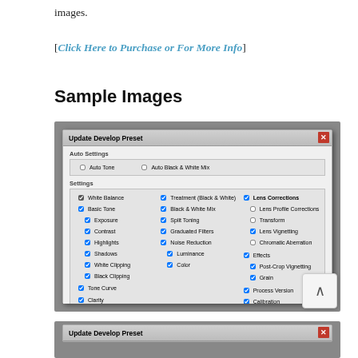images.
[Click Here to Purchase or For More Info]
Sample Images
[Figure (screenshot): Screenshot of 'Update Develop Preset' dialog box in Adobe Lightroom showing checkboxes for Auto Settings and Settings including White Balance, Basic Tone, Exposure, Contrast, Highlights, Shadows, White Clipping, Black Clipping, Tone Curve, Clarity, Sharpening, Treatment (Black & White), Black & White Mix, Split Toning, Graduated Filters, Noise Reduction, Luminance, Color, Lens Corrections, Lens Profile Corrections, Transform, Lens Vignetting, Chromatic Aberration, Effects, Post-Crop Vignetting, Grain, Process Version, Calibration. Buttons: Check All, Check None, Update, Cancel.]
[Figure (screenshot): Partial screenshot of another 'Update Develop Preset' dialog box.]